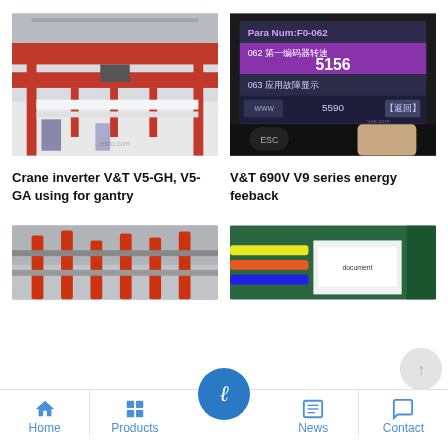[Figure (photo): Industrial overhead crane with red girders inside a large warehouse facility]
[Figure (photo): VFD/inverter display screen showing Chinese text: Para Num:F0-062, 062 第一编码器转速 5156, 063 应用故障显示, 5590, 返回, ESC button visible, watermark yue.com]
Crane inverter V&T V5-GH, V5-GA using for gantry
V&T 690V V9 series energy feeback
[Figure (photo): Industrial overhead crane structure with pipes and equipment (partially visible, bottom row)]
[Figure (photo): Electrical wiring/cables being worked on (partially visible, bottom row)]
Home  Products  [center button]  News  Contact